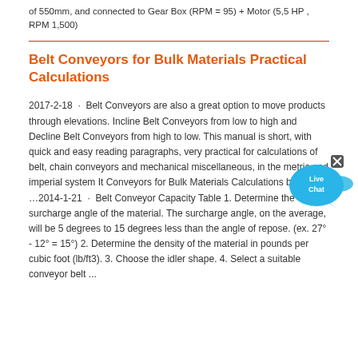of 550mm, and connected to Gear Box (RPM = 95) + Motor (5,5 HP , RPM 1,500)
Belt Conveyors for Bulk Materials Practical Calculations
2017-2-18 · Belt Conveyors are also a great option to move products through elevations. Incline Belt Conveyors from low to high and Decline Belt Conveyors from high to low. This manual is short, with quick and easy reading paragraphs, very practical for calculations of belt, chain conveyors and mechanical miscellaneous, in the metric and imperial system It Conveyors for Bulk Materials Calculations by CEMA …2014-1-21 · Belt Conveyor Capacity Table 1. Determine the surcharge angle of the material. The surcharge angle, on the average, will be 5 degrees to 15 degrees less than the angle of repose. (ex. 27° - 12° = 15°) 2. Determine the density of the material in pounds per cubic foot (lb/ft3). 3. Choose the idler shape. 4. Select a suitable conveyor belt ...
[Figure (illustration): Live Chat bubble icon with blue speech bubble and small fish shape, with an X close button]